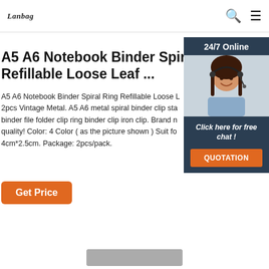Lanbag [logo] | search icon | menu icon
A5 A6 Notebook Binder Spiral Ring Refillable Loose Leaf ...
A5 A6 Notebook Binder Spiral Ring Refillable Loose Leaf 2pcs Vintage Metal. A5 A6 metal spiral binder clip sta binder file folder clip ring binder clip iron clip. Brand n quality! Color: 4 Color ( as the picture shown ) Suit fo 4cm*2.5cm. Package: 2pcs/pack.
Get Price
[Figure (photo): Chat widget with a woman wearing a headset smiling, with '24/7 Online' header, 'Click here for free chat!' text, and 'QUOTATION' orange button on dark blue background]
[Figure (photo): Bottom image placeholder showing a partial product image]